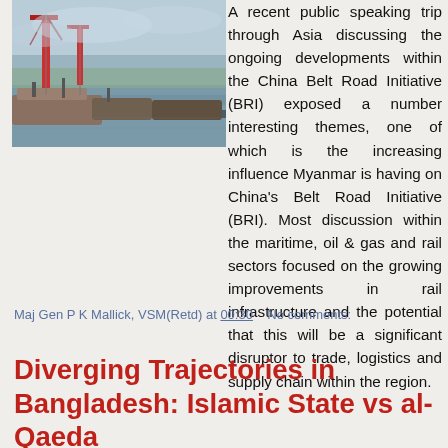[Figure (photo): Port scene with cranes and boats on a river, overcast sky, industrial waterfront]
A recent public speaking trip through Asia discussing the ongoing developments within the China Belt Road Initiative (BRI) exposed a number interesting themes, one of which is the increasing influence Myanmar is having on China's Belt Road Initiative (BRI). Most discussion within the maritime, oil & gas and rail sectors focused on the growing improvements in rail infrastructure and the potential that this will be a significant disruptor to trade, logistics and supply chain within the region.
Maj Gen P K Mallick, VSM(Retd) at 00:30    No comments:
Diverging Trajectories in Bangladesh: Islamic State vs al-Qaeda